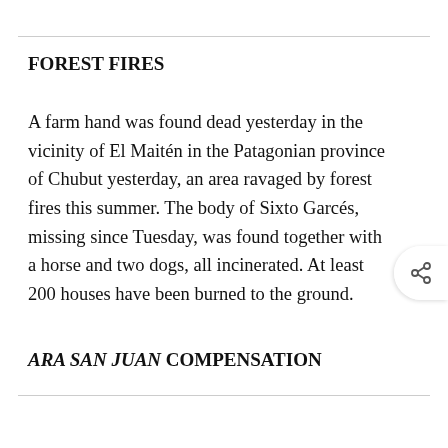FOREST FIRES
A farm hand was found dead yesterday in the vicinity of El Maitén in the Patagonian province of Chubut yesterday, an area ravaged by forest fires this summer. The body of Sixto Garcés, missing since Tuesday, was found together with a horse and two dogs, all incinerated. At least 200 houses have been burned to the ground.
ARA SAN JUAN COMPENSATION